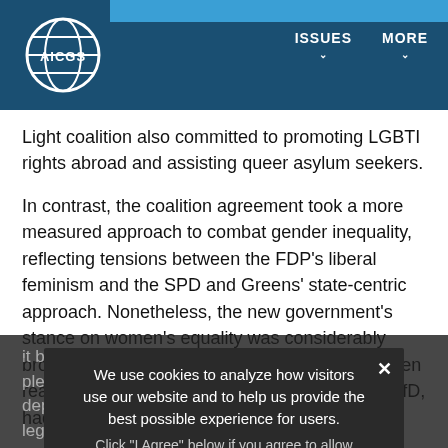AICGS | ISSUES | MORE
Light coalition also committed to promoting LGBTI rights abroad and assisting queer asylum seekers.
In contrast, the coalition agreement took a more measured approach to combat gender inequality, reflecting tensions between the FDP's liberal feminism and the SPD and Greens' state-centric approach. Nonetheless, the new government's stance on women's equality was considerably broader than any agreement that could have been reached with the Christian Democrats—or the AfD, had it been considered "coalition eligible." The coalition pledged to "realize" equal pay in some way, deploying gender budgeting, an "equality check" of legislation, and collecting information to close the "gender data gap." Several measures included will have a disproportionately
We use cookies to analyze how visitors use our website and to help us provide the best possible experience for users.
Click "I Agree" below if you agree to allow cookies